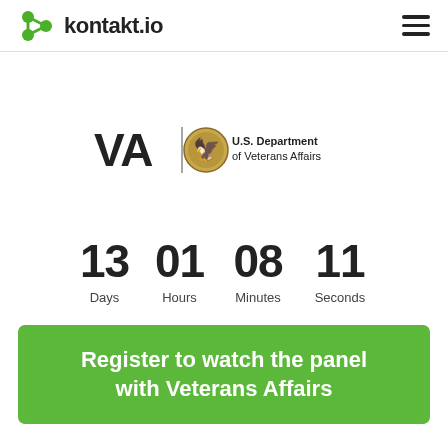kontakt.io
[Figure (logo): VA — U.S. Department of Veterans Affairs official logo with eagle seal]
13 Days  01 Hours  08 Minutes  11 Seconds
Register to watch the panel with Veterans Affairs